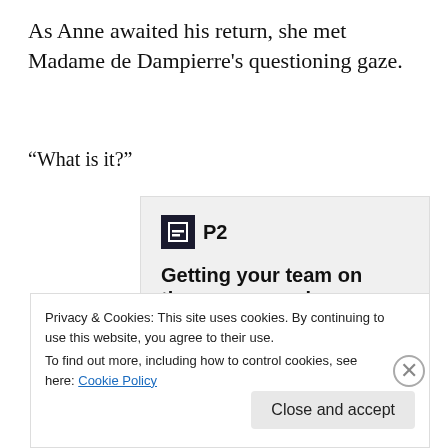As Anne awaited his return, she met Madame de Dampierre's questioning gaze.
“What is it?”
[Figure (screenshot): P2 advertisement: logo showing a dark square icon with white lines and 'P2' text, headline 'Getting your team on the same page is easy. And free.' with four avatar circles below (three portrait photos and one blue circle).]
Privacy & Cookies: This site uses cookies. By continuing to use this website, you agree to their use.
To find out more, including how to control cookies, see here: Cookie Policy
Close and accept